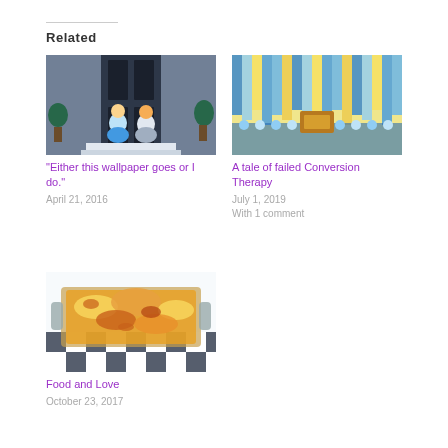Related
[Figure (photo): Two people sitting on a porch in front of dark doors]
“Either this wallpaper goes or I do.”
April 21, 2016
[Figure (photo): Colorful streamer backdrop with a group of people in blue and white costumes]
A tale of failed Conversion Therapy
July 1, 2019
With 1 comment
[Figure (photo): Baked lasagna or casserole dish on a checkered cloth]
Food and Love
October 23, 2017